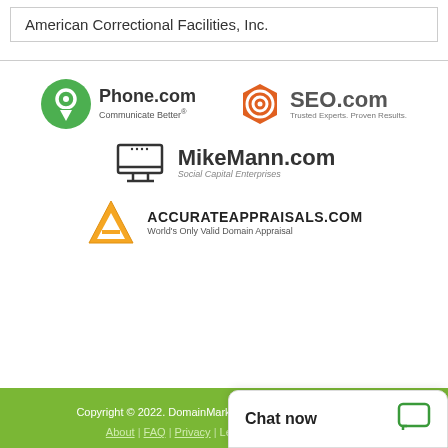American Correctional Facilities, Inc.
[Figure (logo): Phone.com logo - green circle with white map pin icon, text 'Phone.com' bold and 'Communicate Better®' tagline]
[Figure (logo): SEO.com logo - orange hexagon target icon, text 'SEO.com' bold gray and 'Trusted Experts. Proven Results.' tagline]
[Figure (logo): MikeMann.com logo - monitor/screen icon outline, text 'MikeMann.com' bold and 'Social Capital Enterprises' italic tagline]
[Figure (logo): AccurateAppraisals.com logo - orange triangle A icon, text 'AccurateAppraisals.com' uppercase bold and 'World's Only Valid Domain Appraisal' tagline]
Copyright © 2022. DomainMarket.com | All Rights Reserved. | About | FAQ | Privacy | Legal | Security | Contact
Chat now